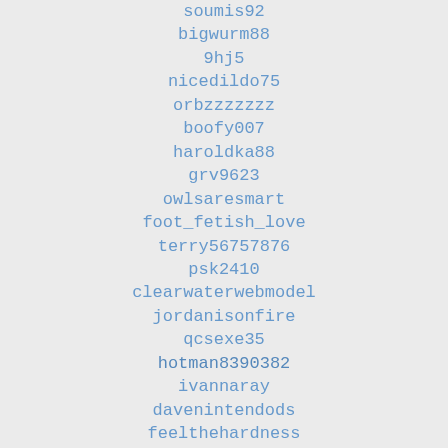soumis92
bigwurm88
9hj5
nicedildo75
orbzzzzzzz
boofy007
haroldka88
grv9623
owlsaresmart
foot_fetish_love
terry56757876
psk2410
clearwaterwebmodel
jordanisonfire
qcsexe35
hotman8390382
ivannaray
davenintendods
feelthehardness
mahmoudpopo
fivestar3012
hasbah2_
kmlprince
londonguy_67